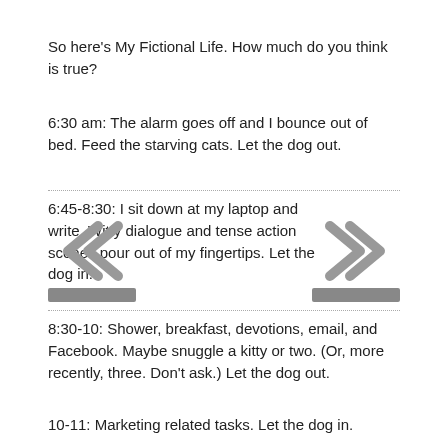So here’s My Fictional Life. How much do you think is true?
6:30 am: The alarm goes off and I bounce out of bed. Feed the starving cats. Let the dog out.
6:45-8:30: I sit down at my laptop and write. Witty dialogue and tense action scenes pour out of my fingertips. Let the dog in.
8:30-10: Shower, breakfast, devotions, email, and Facebook. Maybe snuggle a kitty or two. (Or, more recently, three. Don’t ask.) Let the dog out.
10-11: Marketing related tasks. Let the dog in.